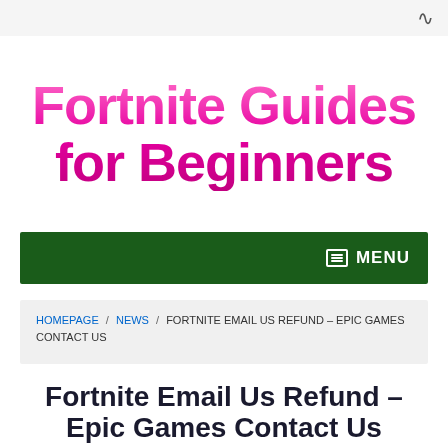RSS
Fortnite Guides for Beginners
MENU
HOMEPAGE / NEWS / FORTNITE EMAIL US REFUND – EPIC GAMES CONTACT US
Fortnite Email Us Refund – Epic Games Contact Us